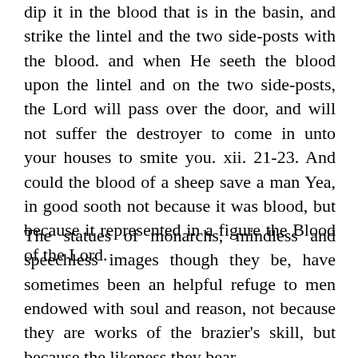dip it in the blood that is in the basin, and strike the lintel and the two side-posts with the blood. and when He seeth the blood upon the lintel and on the two side-posts, the Lord will pass over the door, and will not suffer the destroyer to come in unto your houses to smite you. xii. 21-23. And could the blood of a sheep save a man Yea, in good sooth not because it was blood, but because it represented in a figure the Blood of the Lord.
The statues of monarchs, mindless and speechless images though they be, have sometimes been an helpful refuge to men endowed with soul and reason, not because they are works of the brazier's skill, but because the likeness they bear